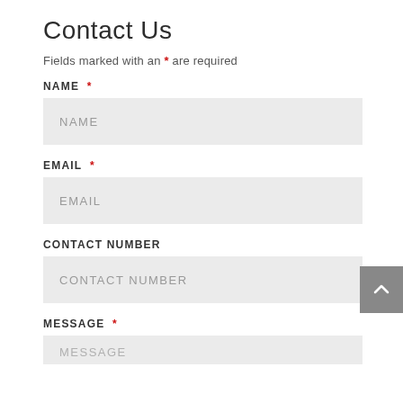Contact Us
Fields marked with an * are required
NAME *
NAME
EMAIL *
EMAIL
CONTACT NUMBER
CONTACT NUMBER
MESSAGE *
MESSAGE